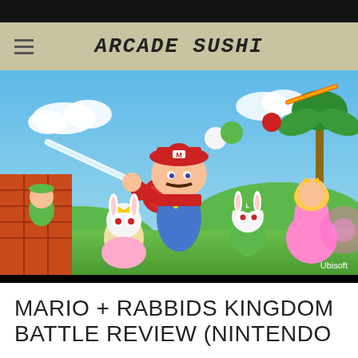ARCADE SUSHI
[Figure (photo): Promotional artwork for Mario + Rabbids Kingdom Battle showing Mario, Luigi, Princess Peach, and various Rabbids characters in action poses against a colorful game world background. Credit: Ubisoft]
Ubisoft
MARIO + RABBIDS KINGDOM BATTLE REVIEW (NINTENDO